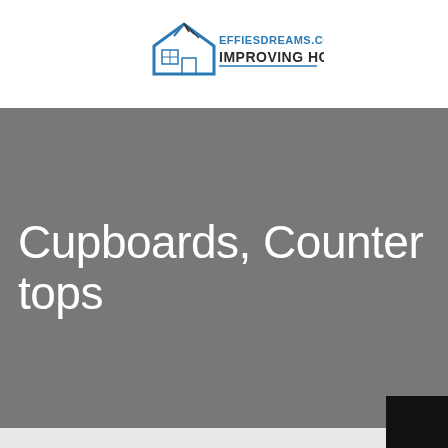EFFIESDREAMS.COM IMPROVING HOME
Cupboards, Counter tops
[Figure (other): Black square in bottom-right corner]